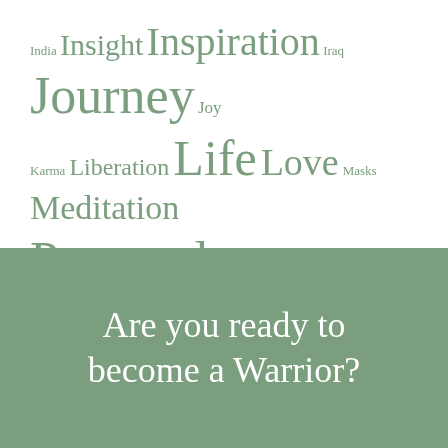[Figure (infographic): Word cloud on white background with words in varying sizes in muted green color: India, Insight, Inspiration, Iraq, Journey, Joy, Karma, Liberation, Life, Love, Masks, Meditation, Personal, Relationships, Sadness, Sam van Eeghen, Thailand, Transformation, USA, Vulnerability, Warrior, Wholeheartedness, Wisdom, Zen]
Are you ready to become a Warrior?